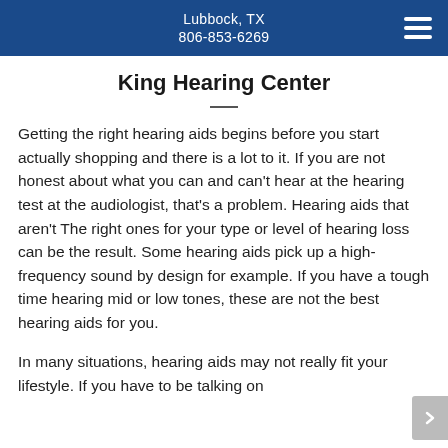Lubbock, TX
806-853-6269
King Hearing Center
Getting the right hearing aids begins before you start actually shopping and there is a lot to it. If you are not honest about what you can and can't hear at the hearing test at the audiologist, that's a problem. Hearing aids that aren't The right ones for your type or level of hearing loss can be the result. Some hearing aids pick up a high-frequency sound by design for example. If you have a tough time hearing mid or low tones, these are not the best hearing aids for you.
In many situations, hearing aids may not really fit your lifestyle. If you have to be talking on